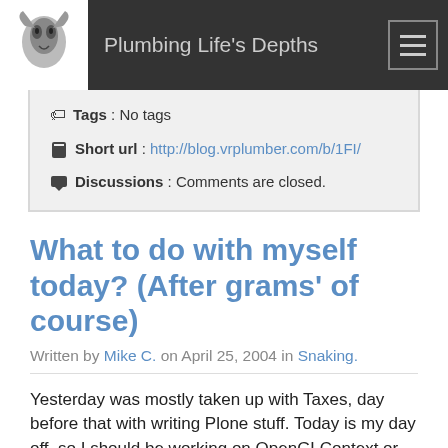Plumbing Life's Depths
Tags : No tags
Short url : http://blog.vrplumber.com/b/1FI/
Discussions : Comments are closed.
What to do with myself today? (After grams' of course)
Written by Mike C. on April 25, 2004 in Snaking.
Yesterday was mostly taken up with Taxes, day before that with writing Plone stuff. Today is my day off, so I should be working on OpenGLContext or PyOpenGL or wxoo or one of the others. I feel like working on something fun, so